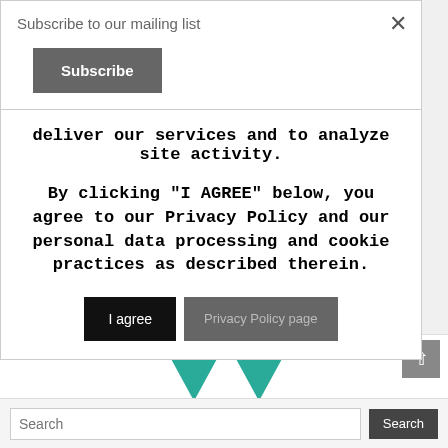Subscribe to our mailing list
Subscribe
deliver our services and to analyze site activity.
By clicking "I AGREE" below, you agree to our Privacy Policy and our personal data processing and cookie practices as described therein.
I agree
Privacy Policy page
[Figure (logo): Two teal downward-pointing triangle/arrow shapes side by side]
Search
Search